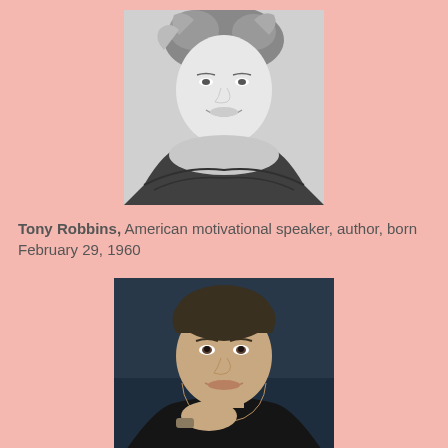[Figure (photo): Black and white portrait photo of a woman with curled hair, smiling, wearing an off-shoulder top]
Tony Robbins, American motivational speaker, author, born February 29, 1960
[Figure (photo): Color portrait photo of Tony Robbins, a man in dark clothing with hand near his chin, against a dark blue background]